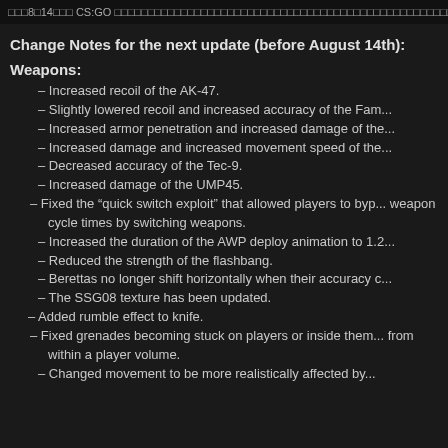□□□8□14□□□ CS:GO □□□□□□□□□□□□□□□□□□□□□□□□□□□□□□□□□□□□□□□□
Change Notes for the next update (before August 14th):
Weapons:
– Increased recoil of the AK-47.
– Slightly lowered recoil and increased accuracy of the Fam...
– Increased armor penetration and increased damage of the...
– Increased damage and increased movement speed of the...
– Decreased accuracy of the Tec-9.
– Increased damage of the UMP45.
– Fixed the "quick switch exploit" that allowed players to bypass weapon cycle times by switching weapons.
– Increased the duration of the AWP deploy animation to 1.2...
– Reduced the strength of the flashbang.
– Berettas no longer shift horizontally when their accuracy c...
– The SSG08 texture has been updated.
– Added rumble effect to knife.
– Fixed grenades becoming stuck on players or inside them from within a player volume.
– Changed movement to be more realistically affected by...